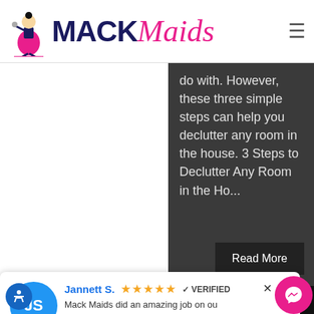[Figure (logo): Mack Maids logo with cartoon maid figure on left, MACK in dark navy bold sans-serif and Maids in pink italic script font, hamburger menu icon on right]
do with. However, these three simple steps can help you declutter any room in the house. 3 Steps to Declutter Any Room in the Ho...
Read More
We use cookies to ensure that we give you the best experience
Jannett S. ★★★★★ ✓ VERIFIED
Mack Maids did an amazing job on our Move In clean. Swept out all the ghos from the previous owners. ... More